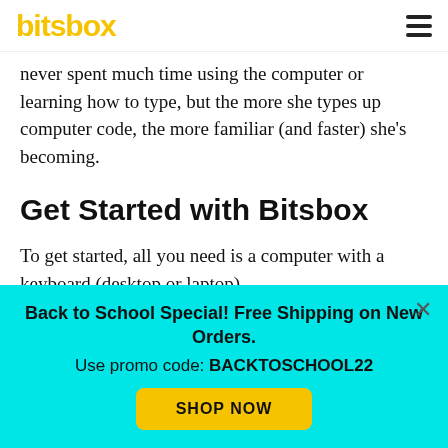bitsbox
never spent much time using the computer or learning how to type, but the more she types up computer code, the more familiar (and faster) she's becoming.
Get Started with Bitsbox
To get started, all you need is a computer with a keyboard (desktop or laptop).
You can then go to the Bitsbox website and pull up
Back to School Special! Free Shipping on New Orders.
Use promo code: BACKTOSCHOOL22
SHOP NOW